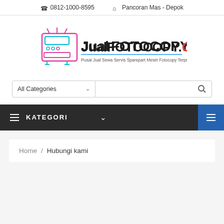0812-1000-8595  Pancoran Mas - Depok
[Figure (logo): JualFOTOCOPY.Co.Id logo with fotocopy machine icon. Tagline: Pusat Jual Sewa Servis Sparepart Mesin Fotocopy Terpercaya]
All Categories
KATEGORI
Home / Hubungi kami